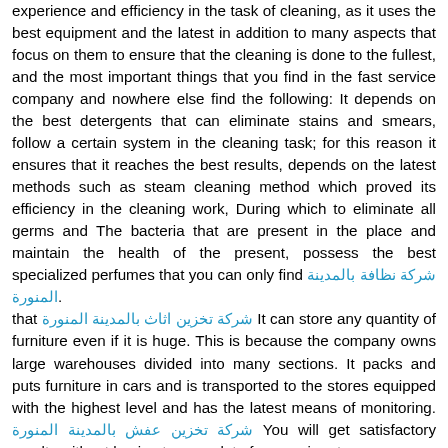experience and efficiency in the task of cleaning, as it uses the best equipment and the latest in addition to many aspects that focus on them to ensure that the cleaning is done to the fullest, and the most important things that you find in the fast service company and nowhere else find the following: It depends on the best detergents that can eliminate stains and smears, follow a certain system in the cleaning task; for this reason it ensures that it reaches the best results, depends on the latest methods such as steam cleaning method which proved its efficiency in the cleaning work, During which to eliminate all germs and The bacteria that are present in the place and maintain the health of the present, possess the best specialized perfumes that you can only find شركة نظافة بالمدينة المنورة. that شركة تخزين اثاث بالمدينة المنورة It can store any quantity of furniture even if it is huge. This is because the company owns large warehouses divided into many sections. It packs and puts furniture in cars and is transported to the stores equipped with the highest level and has the latest means of monitoring. شركة تخزين عفش بالمدينة المنورة You will get satisfactory results without having to pay a lot of money in return Be aware... Cleaning works require the